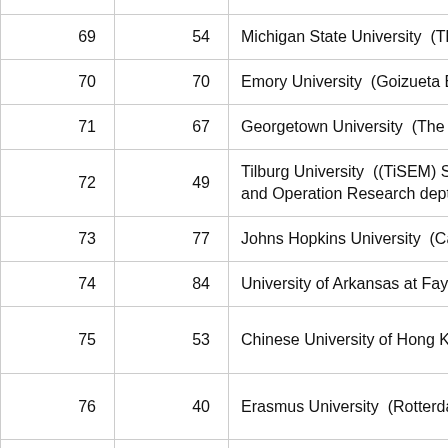| Rank | Prev | Institution |
| --- | --- | --- |
| 69 | 54 | Michigan State University  (The |
| 70 | 70 | Emory University  (Goizueta Bus |
| 71 | 67 | Georgetown University  (The Mc |
| 72 | 49 | Tilburg University  ((TiSEM) Sch and Operation Research depts.)) |
| 73 | 77 | Johns Hopkins University  (Care |
| 74 | 84 | University of Arkansas at Fayette |
| 75 | 53 | Chinese University of Hong Kong |
| 76 | 40 | Erasmus University  (Rotterdam |
| 77 | 88 | University of Iowa  (Henry B. Tip |
| 78 | 95 | University at Buffalo / State Uni |